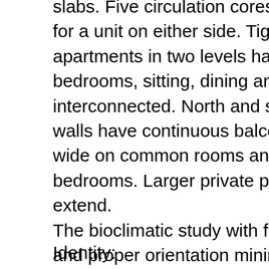formed by concrete shear walls and slabs. Five circulation cores has landings for a unit on either side. Tightly designed apartments in two levels have 2 or 3 bedrooms, sitting, dining and kitchen, all interconnected. North and south end walls have continuous balconies, 2.5 m wide on common rooms and 1 m on bedrooms. Larger private planted areas extend. The bioclimatic study with floor heating and proper orientation minimizes energy use, best respecting the surrounding environment. The units on the steep ground form volumes of two to five levels.
Identity: